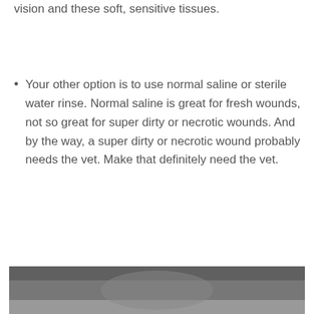vision and these soft, sensitive tissues.
Your other option is to use normal saline or sterile water rinse. Normal saline is great for fresh wounds, not so great for super dirty or necrotic wounds. And by the way, a super dirty or necrotic wound probably needs the vet. Make that definitely need the vet.
[Figure (photo): Photo of an animal, partially visible at bottom of page]